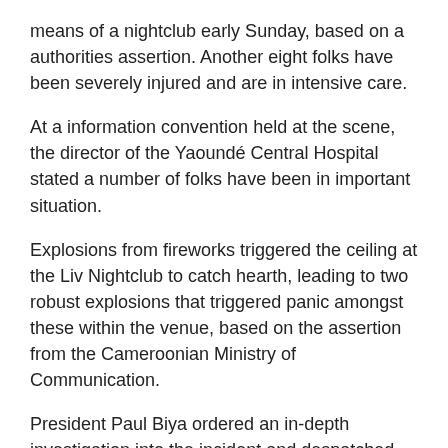means of a nightclub early Sunday, based on a authorities assertion. Another eight folks have been severely injured and are in intensive care.
At a information convention held at the scene, the director of the Yaoundé Central Hospital stated a number of folks have been in important situation.
Explosions from fireworks triggered the ceiling at the Liv Nightclub to catch hearth, leading to two robust explosions that triggered panic amongst these within the venue, based on the assertion from the Cameroonian Ministry of Communication.
President Paul Biya ordered an in-depth investigation into the incident and despatched his condolences to the victims' households, the federal government assertion added.